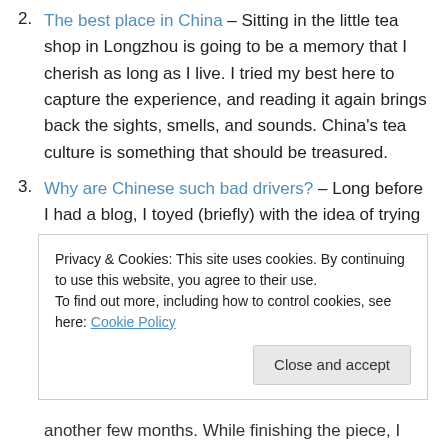2. The best place in China – Sitting in the little tea shop in Longzhou is going to be a memory that I cherish as long as I live. I tried my best here to capture the experience, and reading it again brings back the sights, smells, and sounds. China's tea culture is something that should be treasured.
3. Why are Chinese such bad drivers? – Long before I had a blog, I toyed (briefly) with the idea of trying to do freelance pieces. I remember first drafting this in the Tokyo airport on the way back to the US for Christmas in 2009, as it had always been a fascination of
Privacy & Cookies: This site uses cookies. By continuing to use this website, you agree to their use. To find out more, including how to control cookies, see here: Cookie Policy
another few months. While finishing the piece, I was